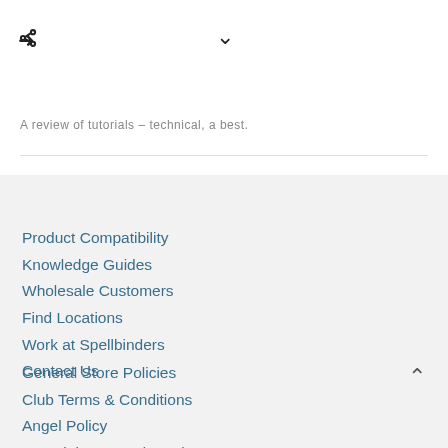A review of tutorials – technical, a best.
Product Compatibility
Knowledge Guides
Wholesale Customers
Find Locations
Work at Spellbinders
Contact Us
General Store Policies
Club Terms & Conditions
Angel Policy
Copyrights & Trademarks
Privacy Policy